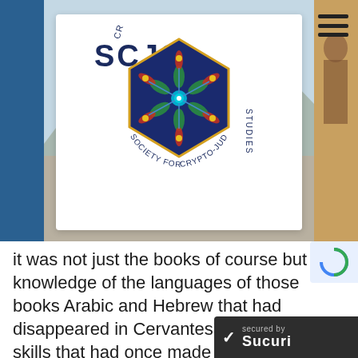[Figure (logo): SCJS Society for Crypto-Judaic Studies logo — hexagonal dark blue emblem with colorful mandala/snowflake design, text 'SCJS' at top, 'CRYPTOJEWS.COM' arc above, 'SOCIETY FOR CRYPTO-JUDAIC STUDIES' around the bottom, on white card background]
It was not just the books of course but the knowledge of the languages of those books Arabic and Hebrew that had disappeared in Cervantes' time – the very skills that had once made knowledge and the transmission of knowledge and learning possible :
And so a Golden Age faded… Just weeks after Monocal finished writing